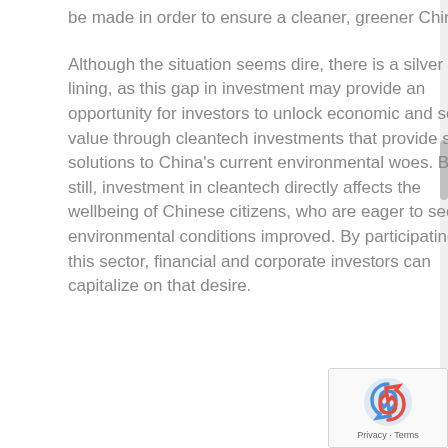be made in order to ensure a cleaner, greener China.
Although the situation seems dire, there is a silver lining, as this gap in investment may provide an opportunity for investors to unlock economic and social value through cleantech investments that provide smart solutions to China's current environmental woes. Better still, investment in cleantech directly affects the wellbeing of Chinese citizens, who are eager to see environmental conditions improved. By participating in this sector, financial and corporate investors can capitalize on that desire.